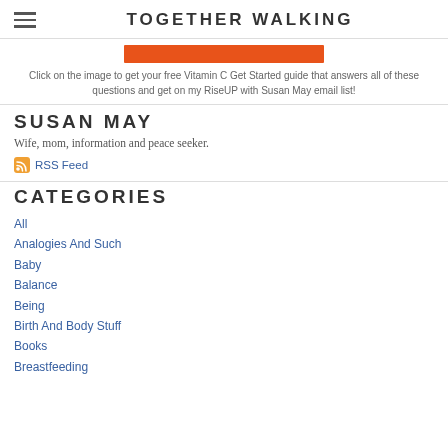TOGETHER WALKING
[Figure (other): Orange/red rectangular banner image partial view]
Click on the image to get your free Vitamin C Get Started guide that answers all of these questions and get on my RiseUP with Susan May email list!
SUSAN MAY
Wife, mom, information and peace seeker.
RSS Feed
CATEGORIES
All
Analogies And Such
Baby
Balance
Being
Birth And Body Stuff
Books
Breastfeeding